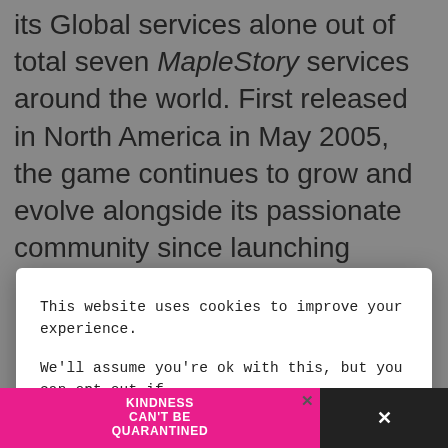its Global services alone out of total seven MapleStory services around the world. First released in North America in May 2005, the game continues to grow and evolve alongside its passionate community since launching
[Figure (screenshot): Cookie consent modal dialog overlaying a webpage. The modal contains text: 'This website uses cookies to improve your experience. We'll assume you're ok with this, but you can opt-out if you wish.' with Accept, Reject, and Read More buttons.]
"About MapleStory M
[Figure (screenshot): Bottom advertisement banner with pink background showing 'KINDNESS CAN'T BE QUARANTINED' text with a close button X on the right side.]